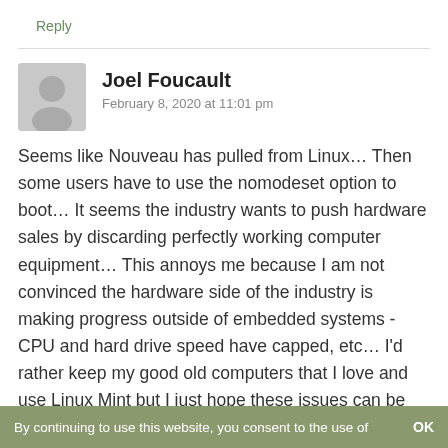Reply
Joel Foucault
February 8, 2020 at 11:01 pm
Seems like Nouveau has pulled from Linux… Then some users have to use the nomodeset option to boot… It seems the industry wants to push hardware sales by discarding perfectly working computer equipment… This annoys me because I am not convinced the hardware side of the industry is making progress outside of embedded systems -CPU and hard drive speed have capped, etc… I'd rather keep my good old computers that I love and use Linux Mint but I just hope these issues can be addressed so my computers may last a long time. You see, as an environmentalist I
By continuing to use this website, you consent to the use of    OK